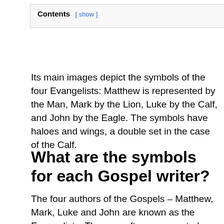| Contents [ show ] |
| --- |
Its main images depict the symbols of the four Evangelists: Matthew is represented by the Man, Mark by the Lion, Luke by the Calf, and John by the Eagle. The symbols have haloes and wings, a double set in the case of the Calf.
What are the symbols for each Gospel writer?
The four authors of the Gospels – Matthew, Mark, Luke and John are known as the Evangelists. They are often represented with their attributes: the Angel for Saint Matthew,